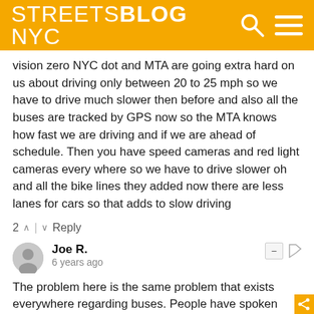STREETSBLOG NYC
vision zero NYC dot and MTA are going extra hard on us about driving only between 20 to 25 mph so we have to drive much slower then before and also all the buses are tracked by GPS now so the MTA knows how fast we are driving and if we are ahead of schedule. Then you have speed cameras and red light cameras every where so we have to drive slower oh and all the bike lines they added now there are less lanes for cars so that adds to slow driving
2 ∧ | ∨ Reply
Joe R.
6 years ago
The problem here is the same problem that exists everywhere regarding buses. People have spoken loud and clear that at best a bus is a poor man's alternative to rail. Many people who won't set foot on a bus will gladly use a train. And much of this stigma against buses is well-deserved. Compared to trains, they're smelly, noisy, bumpy, and slow. They're much more subject to the vagaries of